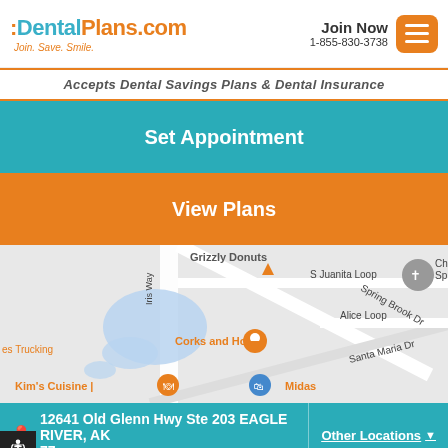:DentalPlans.com Join. Save. Smile. Join Now 1-855-830-3738
Accepts Dental Savings Plans & Dental Insurance
Set Appointment
View Plans
[Figure (map): Google Maps view showing area around 12641 Old Glenn Hwy Ste 203, Eagle River, AK, with landmarks including Corks and Hops, Kim's Cuisine, Midas, S Juanita Loop, Alice Loop, Santa Maria Dr, Spring Brook Dr, Santa Maria Dr.]
12641 Old Glenn Hwy Ste 203 EAGLE RIVER, AK 77   Other Locations